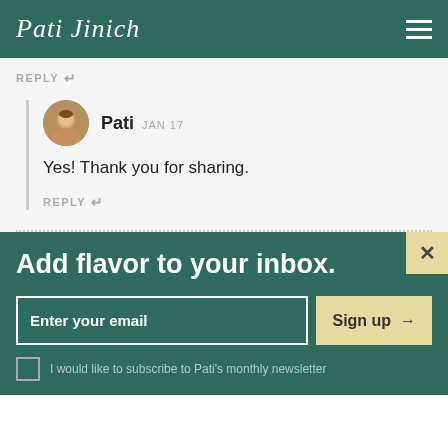Pati Jinich
REPLY ↵
Pati JAN 17
Yes! Thank you for sharing.
REPLY ↵
Add flavor to your inbox.
Enter your email  Sign up →
I would like to subscribe to Pati's monthly newsletter